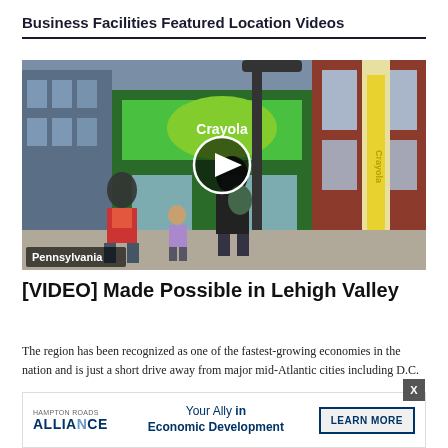Business Facilities Featured Location Videos
[Figure (screenshot): Video thumbnail showing a street scene in Lehigh Valley, Pennsylvania. People walking in an urban setting with a large Crayola crayon visible and storefronts. A play button circle overlay is centered on the image. A label reads 'Pennsylvania' in the lower left corner.]
[VIDEO] Made Possible in Lehigh Valley
The region has been recognized as one of the fastest-growing economies in the nation and is just a short drive away from major mid-Atlantic cities including D.C.
[Figure (infographic): Advertisement overlay: Alliance logo with tagline 'Your Ally in Economic Development' and a Learn More button. An X close button appears in the top right.]